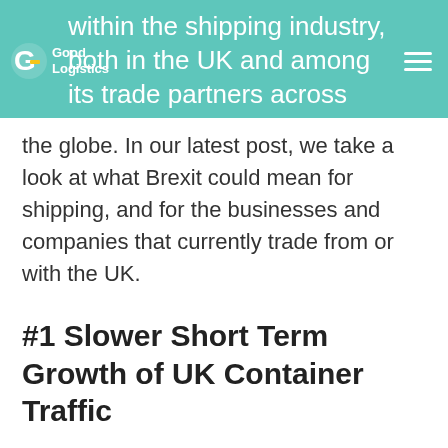within the shipping industry, both in the UK and among its trade partners across
the globe. In our latest post, we take a look at what Brexit could mean for shipping, and for the businesses and companies that currently trade from or with the UK.
#1 Slower Short Term Growth of UK Container Traffic
The vote to leave the EU immediately threw the UK into a period of economic and political uncertainty. This has set back trading confidence and could lead to slower growth of UK container traffic